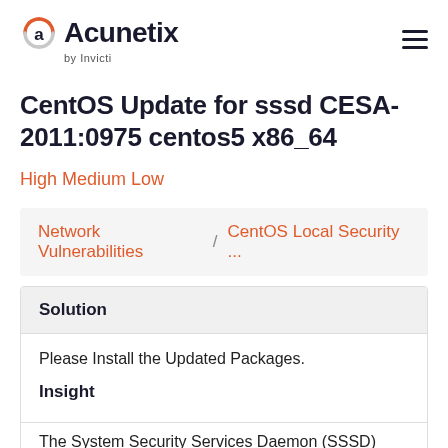Acunetix by Invicti
CentOS Update for sssd CESA-2011:0975 centos5 x86_64
High Medium Low
Network Vulnerabilities / CentOS Local Security ...
Solution
Please Install the Updated Packages.
Insight
The System Security Services Daemon (SSSD)